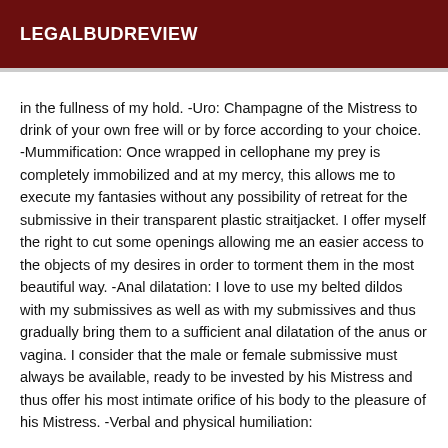LEGALBUDREVIEW
in the fullness of my hold. -Uro: Champagne of the Mistress to drink of your own free will or by force according to your choice. -Mummification: Once wrapped in cellophane my prey is completely immobilized and at my mercy, this allows me to execute my fantasies without any possibility of retreat for the submissive in their transparent plastic straitjacket. I offer myself the right to cut some openings allowing me an easier access to the objects of my desires in order to torment them in the most beautiful way. -Anal dilatation: I love to use my belted dildos with my submissives as well as with my submissives and thus gradually bring them to a sufficient anal dilatation of the anus or vagina. I consider that the male or female submissive must always be available, ready to be invested by his Mistress and thus offer his most intimate orifice of his body to the pleasure of his Mistress. -Verbal and physical humiliation:...